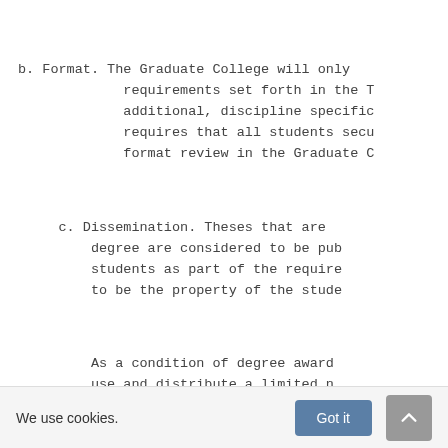b. Format. The Graduate College will only requirements set forth in the T additional, discipline specific requires that all students secu format review in the Graduate C
c. Dissemination. Theses that are degree are considered to be pub students as part of the require to be the property of the stude
As a condition of degree award use and distribute a limited n to require its publication for Trustees' General Rules).
We use cookies. Got it